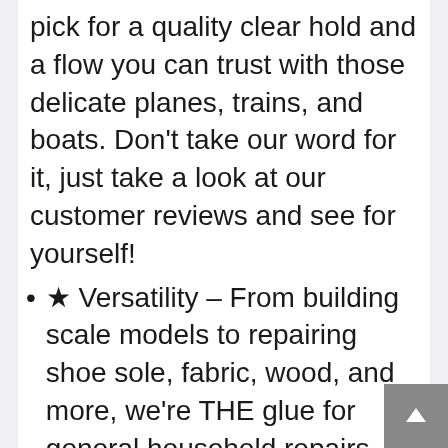pick for a quality clear hold and a flow you can trust with those delicate planes, trains, and boats. Don't take our word for it, just take a look at our customer reviews and see for yourself!
★ Versatility – From building scale models to repairing shoe sole, fabric, wood, and more, we're THE glue for general household repairs, carpentry and whatever else you need fixed! It's truly a must have for anyone's toolbox. Our 2oz container offers you enough